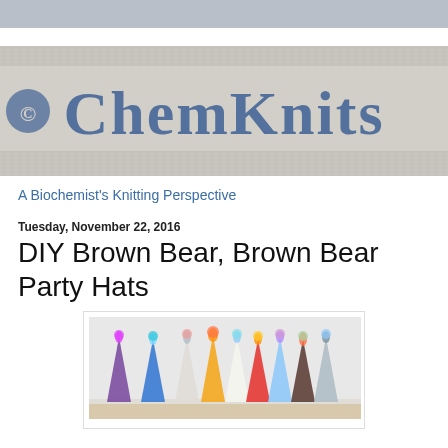[Figure (photo): ChemKnits knitted banner logo — blue lettering spelling 'ChemKnits' on a grey knitted fabric background]
A Biochemist's Knitting Perspective
Tuesday, November 22, 2016
DIY Brown Bear, Brown Bear Party Hats
[Figure (photo): Row of colorful DIY party hats with pom-pom decorations leaning against a white wall]